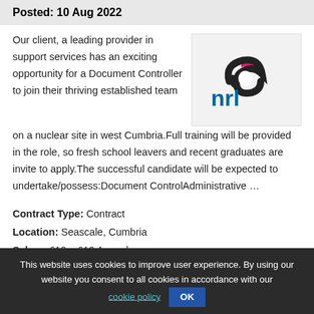Posted: 10 Aug 2022
Our client, a leading provider in support services has an exciting opportunity for a Document Controller to join their thriving established team on a nuclear site in west Cumbria.Full training will be provided in the role, so fresh school leavers and recent graduates are invite to apply.The successful candidate will be expected to undertake/possess:Document ControlAdministrative …
[Figure (logo): NRL company logo: stylized arrow/swirl icon in pink/black above blue 'nrl' text]
Contract Type: Contract
Location: Seascale, Cumbria
Salary: £10 - £12 Annual
This website uses cookies to improve user experience. By using our website you consent to all cookies in accordance with our cookie policy OK